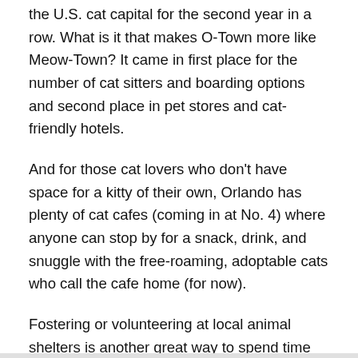the U.S. cat capital for the second year in a row. What is it that makes O-Town more like Meow-Town? It came in first place for the number of cat sitters and boarding options and second place in pet stores and cat-friendly hotels.
And for those cat lovers who don't have space for a kitty of their own, Orlando has plenty of cat cafes (coming in at No. 4) where anyone can stop by for a snack, drink, and snuggle with the free-roaming, adoptable cats who call the cafe home (for now).
Fostering or volunteering at local animal shelters is another great way to spend time with kitties who need lots of love, and Orlando has plenty of opportunities on that front, too (ranking No. 28).